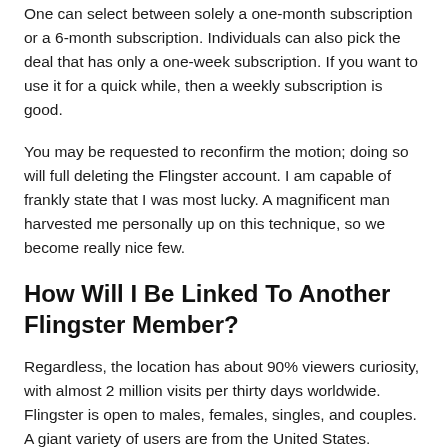One can select between solely a one-month subscription or a 6-month subscription. Individuals can also pick the deal that has only a one-week subscription. If you want to use it for a quick while, then a weekly subscription is good.
You may be requested to reconfirm the motion; doing so will full deleting the Flingster account. I am capable of frankly state that I was most lucky. A magnificent man harvested me personally up on this technique, so we become really nice few.
How Will I Be Linked To Another Flingster Member?
Regardless, the location has about 90% viewers curiosity, with almost 2 million visits per thirty days worldwide. Flingster is open to males, females, singles, and couples. A giant variety of users are from the United States. Flingster may be